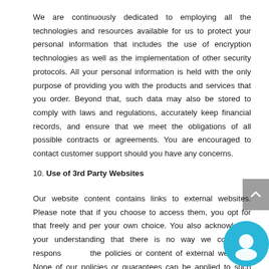We are continuously dedicated to employing all the technologies and resources available for us to protect your personal information that includes the use of encryption technologies as well as the implementation of other security protocols. All your personal information is held with the only purpose of providing you with the products and services that you order. Beyond that, such data may also be stored to comply with laws and regulations, accurately keep financial records, and ensure that we meet the obligations of all possible contracts or agreements. You are encouraged to contact customer support should you have any concerns.
10. Use of 3rd Party Websites
Our website content contains links to external websites. Please note that if you choose to access them, you opt for that freely and per your own choice. You also acknowledge your understanding that there is no way we could be responsible for the policies or content of external websites. None of our policies or guarantees can be applied to such websites as far